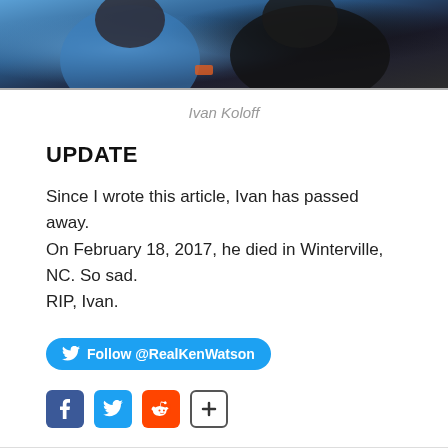[Figure (photo): A cropped photo showing two people close up, one wearing a blue shirt, outdoors with foliage in background]
Ivan Koloff
UPDATE
Since I wrote this article, Ivan has passed away. On February 18, 2017, he died in Winterville, NC. So sad. RIP, Ivan.
Follow @RealKenWatson
[Figure (infographic): Social share icons: Facebook, Twitter, Reddit, Share plus button]